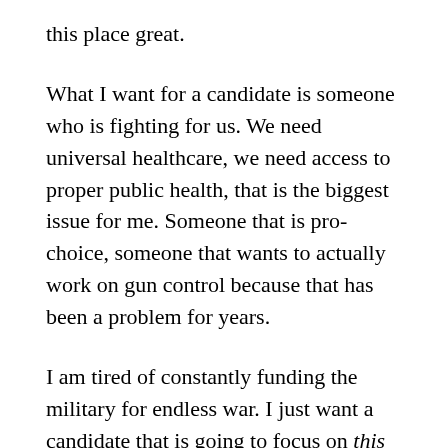this place great.
What I want for a candidate is someone who is fighting for us. We need universal healthcare, we need access to proper public health, that is the biggest issue for me. Someone that is pro-choice, someone that wants to actually work on gun control because that has been a problem for years.
I am tired of constantly funding the military for endless war. I just want a candidate that is going to focus on this nation because we have been so focused on everything outside and we haven't focused on what is going on here. We have problems internally and we should be growing, we shouldn't be going backwards.
My mom has voted Democrat in every election. My grandpa, he flip-flops. In the last election, he voted for Clinton, in the election prior he voted for Romney, and